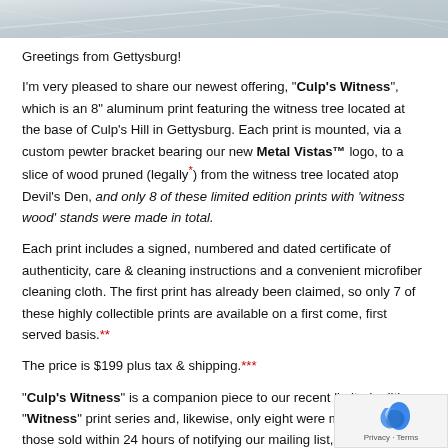[Figure (photo): Marble/stone texture background image at top of page]
Greetings from Gettysburg!
I'm very pleased to share our newest offering, "Culp's Witness", which is an 8" aluminum print featuring the witness tree located at the base of Culp's Hill in Gettysburg. Each print is mounted, via a custom pewter bracket bearing our new Metal Vistas™ logo, to a slice of wood pruned (legally*) from the witness tree located atop Devil's Den, and only 8 of these limited edition prints with 'witness wood' stands were made in total.
Each print includes a signed, numbered and dated certificate of authenticity, care & cleaning instructions and a convenient microfiber cleaning cloth. The first print has already been claimed, so only 7 of these highly collectible prints are available on a first come, first served basis.**
The price is $199 plus tax & shipping.***
"Culp's Witness" is a companion piece to our recent limited edition "Witness" print series and, likewise, only eight were made. Seven of those sold within 24 hours of notifying our mailing list,